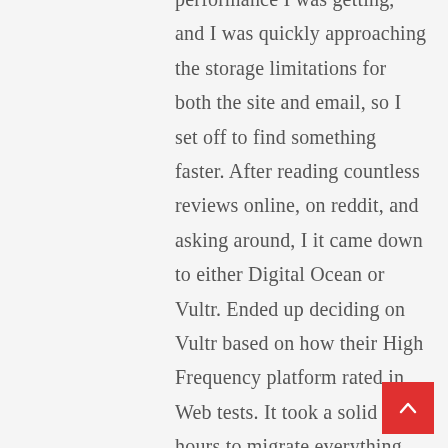performance I was getting, and I was quickly approaching the storage limitations for both the site and email, so I set off to find something faster. After reading countless reviews online, on reddit, and asking around, I it came down to either Digital Ocean or Vultr. Ended up deciding on Vultr based on how their High Frequency platform rated in Web tests. It took a solid 6 hours to migrate everything over, but performance has drastically improved, as I have full control over my site now and was able to install some caching tools to speed things up.